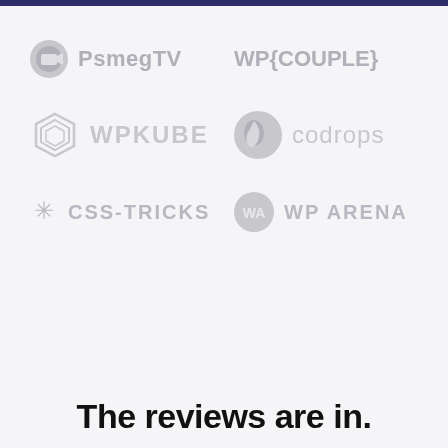[Figure (logo): PsmegTV logo - grey circle with camera icon and text PsmegTV]
[Figure (logo): WP{COUPLE} logo in bold grey text]
[Figure (logo): WPKUBE logo with hexagonal cube icon]
[Figure (logo): codrops logo with drop circle icon]
[Figure (logo): CSS-TRICKS logo with asterisk icon]
[Figure (logo): WP ARENA logo with circle WA icon]
The reviews are in.